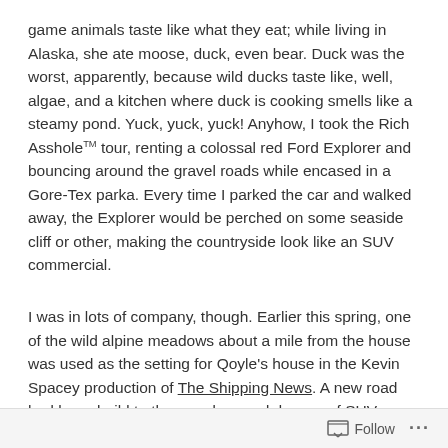game animals taste like what they eat; while living in Alaska, she ate moose, duck, even bear. Duck was the worst, apparently, because wild ducks taste like, well, algae, and a kitchen where duck is cooking smells like a steamy pond. Yuck, yuck, yuck! Anyhow, I took the Rich Asshole™ tour, renting a colossal red Ford Explorer and bouncing around the gravel roads while encased in a Gore-Tex parka. Every time I parked the car and walked away, the Explorer would be perched on some seaside cliff or other, making the countryside look like an SUV commercial.
I was in lots of company, though. Earlier this spring, one of the wild alpine meadows about a mile from the house was used as the setting for Qoyle's house in the Kevin Spacey production of The Shipping News. A new road had been build to the meadow, and dozens of SUV-driving, Gore-Tex wearing crew members had driven out past the house to Fort Point, where they hired fishermen to anchor offshore with
Follow ···